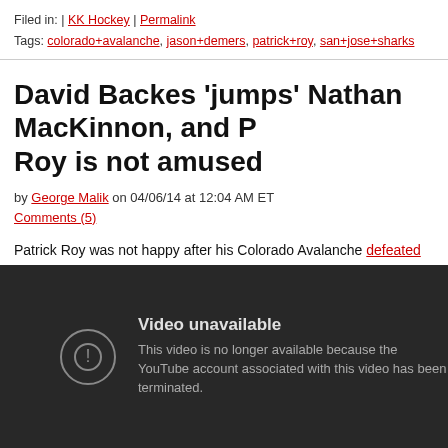Filed in: | KK Hockey | Permalink
Tags: colorado+avalanche, jason+demers, patrick+roy, san+jose+sharks
David Backes 'jumps' Nathan MacKinnon, and Patrick Roy is not amused
by George Malik on 04/06/14 at 12:04 AM ET
Comments (5)
Patrick Roy was not happy after his Colorado Avalanche defeated the St. Louis Blue Saturday--during what was part of a much larger and nastier set of scraps between teams (as Puck Daddy's Jen Neale notes)...
[Figure (screenshot): Embedded YouTube video player showing 'Video unavailable' error message: 'This video is no longer available because the YouTube account associated with this video has been terminated.']